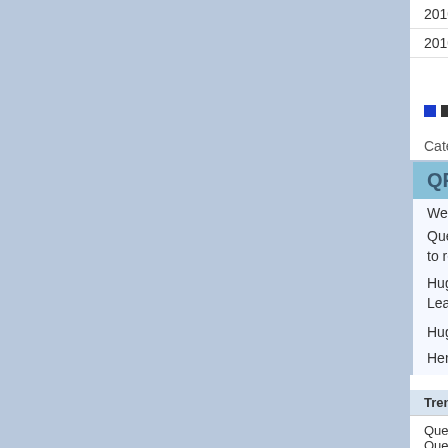|  |  |  |  |  |
| --- | --- | --- | --- | --- |
| 2010/11 | 12 | Inter Milan | 0 | AC Mi... |
| 2010/11 | 31 | AC Milan | 3 | Inter Mi... |
[Figure (other): Social sharing icons: delicious and digg]
Category: Serie A | Comments : 1
QPR appoints Hughes as manager
Wednesday, 11th January 2012 1:24pm
Queens Park Rangers has appointed former Fulham manager Mark Hughes to replace sacked Neil Warnock.
Hughes has managed Blackburn and Fulham in the English Premier League will take the club in 17th place on the table.
Hughes first match will be away to Newcastle in round 21...
Here is the trend for the matches QPR has won or lost:
Win/loss Trend Analysis - Queens Park Rangers
| Trend | Frequency |
| --- | --- |
| Queens Park Rangers leading at half time, Queens Park Rangers winning at full time | 4 |
| Queens Park Rangers leading at half time, Queens Park Rangers losing at full time | 0 |
| Queens Park Rangers trailing at half time, Queens Park Rangers winning at full time | 0 |